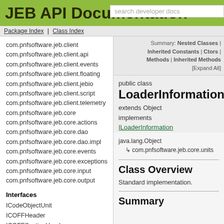JEB API Documentation
com.pnfsoftware.jeb.client
com.pnfsoftware.jeb.client.api
com.pnfsoftware.jeb.client.events
com.pnfsoftware.jeb.client.floating
com.pnfsoftware.jeb.client.jebio
com.pnfsoftware.jeb.client.script
com.pnfsoftware.jeb.client.telemetry
com.pnfsoftware.jeb.core
com.pnfsoftware.jeb.core.actions
com.pnfsoftware.jeb.core.dao
com.pnfsoftware.jeb.core.dao.impl
com.pnfsoftware.jeb.core.events
com.pnfsoftware.jeb.core.exceptions
com.pnfsoftware.jeb.core.input
com.pnfsoftware.jeb.core.output
Interfaces
ICodeObjectUnit
ICOFFHeader
ICOFFSectionHeader
IELFArchRelocatorFacility
IELFHeader
IELFProgramEntry
Summary: Nested Classes | Inherited Constants | Ctors | Methods | Inherited Methods | [Expand All]
public class
LoaderInformation
extends Object
implements ILoaderInformation
java.lang.Object
  ↳ com.pnfsoftware.jeb.core.units
Class Overview
Standard implementation.
Summary